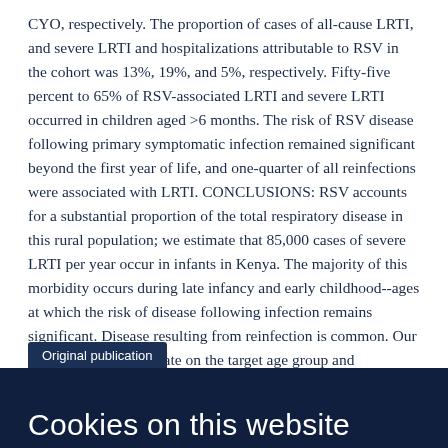CYO, respectively. The proportion of cases of all-cause LRTI, and severe LRTI and hospitalizations attributable to RSV in the cohort was 13%, 19%, and 5%, respectively. Fifty-five percent to 65% of RSV-associated LRTI and severe LRTI occurred in children aged >6 months. The risk of RSV disease following primary symptomatic infection remained significant beyond the first year of life, and one-quarter of all reinfections were associated with LRTI. CONCLUSIONS: RSV accounts for a substantial proportion of the total respiratory disease in this rural population; we estimate that 85,000 cases of severe LRTI per year occur in infants in Kenya. The majority of this morbidity occurs during late infancy and early childhood--ages at which the risk of disease following infection remains significant. Disease resulting from reinfection is common. Our results inform the debate on the target age group and effectiveness of a vaccine.
Original publication
Cookies on this website